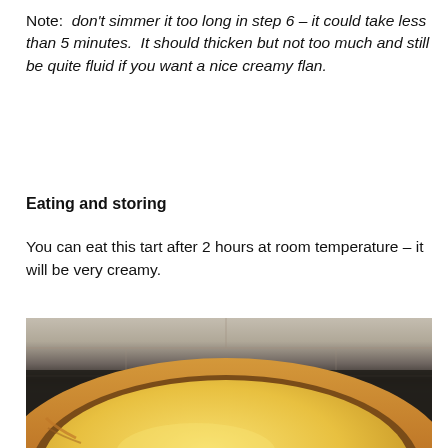Note:  don't simmer it too long in step 6 – it could take less than 5 minutes.  It should thicken but not too much and still be quite fluid if you want a nice creamy flan.
Eating and storing
You can eat this tart after 2 hours at room temperature – it will be very creamy.
[Figure (photo): A creamy yellow custard tart in a golden pastry shell, viewed from above at close range, with a dark background suggesting a baking tray.]